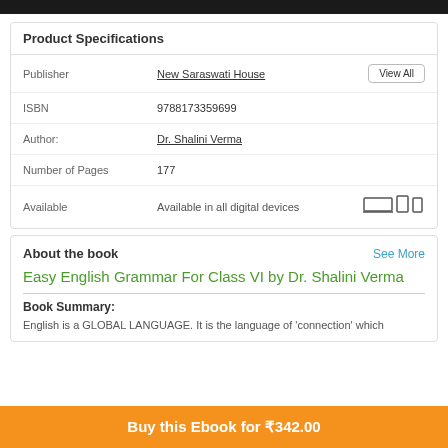[Figure (photo): Dark header image strip at top of page]
Product Specifications
| Field | Value |
| --- | --- |
| Publisher | New Saraswati House |
| ISBN | 9788173359699 |
| Author: | Dr. Shalini Verma |
| Number of Pages | 177 |
| Available | Available in all digital devices |
About the book
Easy English Grammar For Class VI by Dr. Shalini Verma
Book Summary:
English is a GLOBAL LANGUAGE. It is the language of 'connection' which
Buy this Ebook for ₹342.00